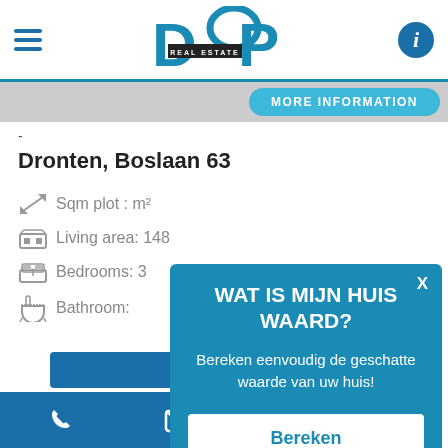[Figure (screenshot): DOP Real Estate app header with hamburger menu, DOP logo in blue with loop detail, and info button]
MORE INFORMATION
-
Dronten, Boslaan 63
Sqm plot : m²
Living area: 148
Bedrooms: 3
Bathroom:
WAT IS MIJN HUIS WAARD?
Bereken eenvoudig de geschatte waarde van uw huis!
Bereken